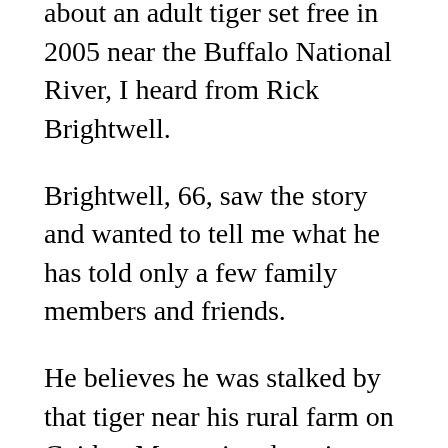about an adult tiger set free in 2005 near the Buffalo National River, I heard from Rick Brightwell.
Brightwell, 66, saw the story and wanted to tell me what he has told only a few family members and friends.
He believes he was stalked by that tiger near his rural farm on Gaither Mountain, elevation 2,152 feet. He lives not far from Erbie, Arkansas, where the tiger had been released.
He doesn't know for certain that he was stalked by a tiger and he doesn't claim to have